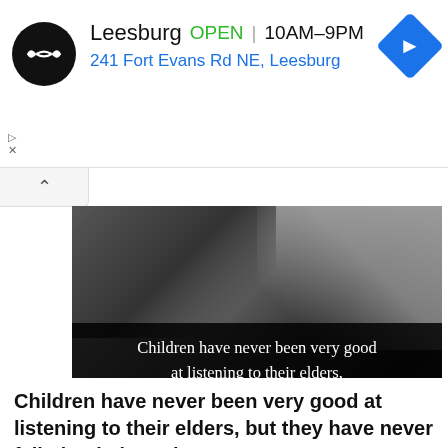[Figure (screenshot): Ad banner with store logo, Leesburg store name, OPEN status, hours 10AM-9PM, address 241 Fort Evans Rd NE Leesburg, and navigation icon]
[Figure (photo): Black and white photograph of James Baldwin lying on a couch looking at camera, with a quote overlay at bottom reading: Children have never been very good at listening to their elders, but they have never failed to imitate them. - James Baldwin]
Children have never been very good at listening to their elders, but they have never failed to imitate them. - James